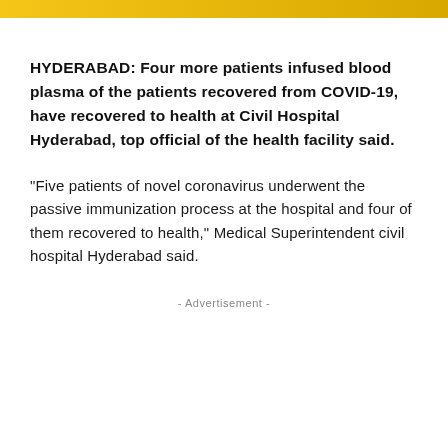HYDERABAD: Four more patients infused blood plasma of the patients recovered from COVID-19, have recovered to health at Civil Hospital Hyderabad, top official of the health facility said.
“Five patients of novel coronavirus underwent the passive immunization process at the hospital and four of them recovered to health,” Medical Superintendent civil hospital Hyderabad said.
- Advertisement -